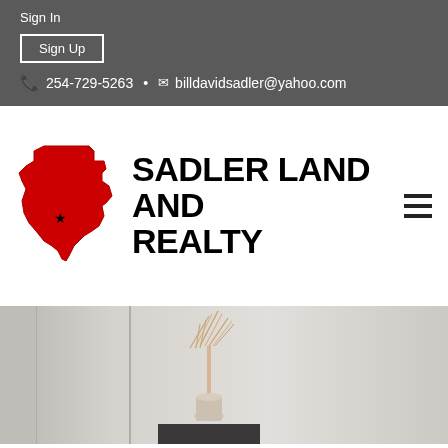Sign In
Sign Up
254-729-5263 • billdavidsadler@yahoo.com
[Figure (logo): Sadler Land and Realty logo with red Texas state shape outline and star, bold black text reading SADLER LAND AND REALTY]
[Figure (photo): Partial view of a room interior with light walls, a decorative vase with dried flowers, and a dark shelf or table element at the bottom center]